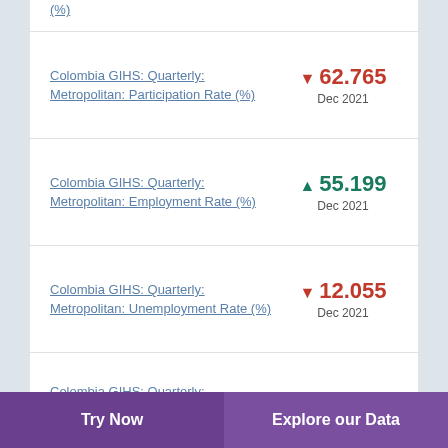(%)
(partial, top of page)
Colombia GIHS: Quarterly: Metropolitan: Participation Rate (%) ▼ 62.765 Dec 2021
Colombia GIHS: Quarterly: Metropolitan: Employment Rate (%) ▲ 55.199 Dec 2021
Colombia GIHS: Quarterly: Metropolitan: Unemployment Rate (%) ▼ 12.055 Dec 2021
Colombia GIHS: Quarterly: Metropolitan: (partial, bottom of page)
Try Now    Explore our Data